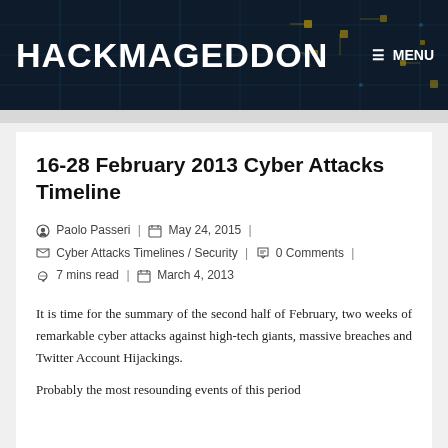HACKMAGEDDON   ≡ MENU
16-28 February 2013 Cyber Attacks Timeline
Paolo Passeri | May 24, 2015 | Cyber Attacks Timelines / Security | 0 Comments | 7 mins read | March 4, 2013
It is time for the summary of the second half of February, two weeks of remarkable cyber attacks against high-tech giants, massive breaches and Twitter Account Hijackings.
Probably the most resounding events of this period (and probably the highest profile of the victims) are...